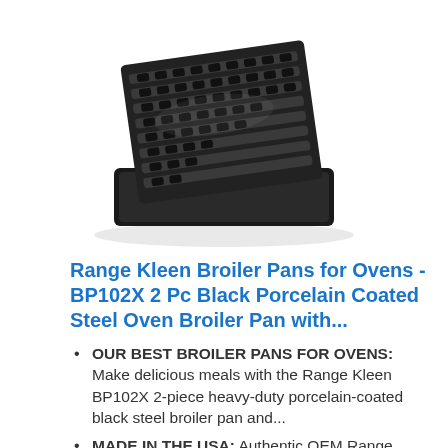[Figure (photo): Product photo of Range Kleen broiler pans — a black porcelain-coated steel broiler pan with ridged rack shown at a slight angle against a white background]
Range Kleen Broiler Pans for Ovens - BP102X 2 Pc Black Porcelain Coated Steel Oven Broiler Pan with...
OUR BEST BROILER PANS FOR OVENS: Make delicious meals with the Range Kleen BP102X 2-piece heavy-duty porcelain-coated black steel broiler pan and...
MADE IN THE USA: Authentic OEM Range Kleen broiler pan with rack are crafted in super-tough porcelain-coated steel, and are guaranteed to last
SAFE UP TO 1,025F: Our broiler pans for ovens are...